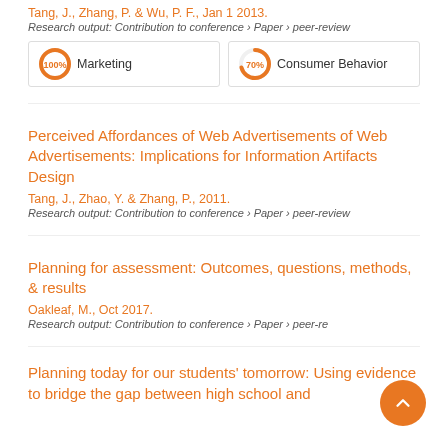Tang, J., Zhang, P. & Wu, P. F., Jan 1 2013.
Research output: Contribution to conference › Paper › peer-review
[Figure (infographic): Two topic badges: '100% Marketing' and '70% Consumer Behavior' shown as circular progress indicators with orange fill]
Perceived Affordances of Web Advertisements of Web Advertisements: Implications for Information Artifacts Design
Tang, J., Zhao, Y. & Zhang, P., 2011.
Research output: Contribution to conference › Paper › peer-review
Planning for assessment: Outcomes, questions, methods, & results
Oakleaf, M., Oct 2017.
Research output: Contribution to conference › Paper › peer-re
Planning today for our students' tomorrow: Using evidence to bridge the gap between high school and